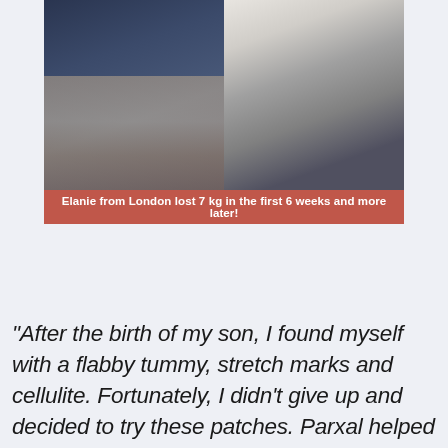[Figure (photo): Before and after split photo of a woman named Elanie from London showing weight loss transformation]
Elanie from London lost 7 kg in the first 6 weeks and more later!
"After the birth of my son, I found myself with a flabby tummy, stretch marks and cellulite. Fortunately, I didn't give up and decided to try these patches. Parxal helped me reduce the excess fat quickly, even though I wasn't on a special diet or counting calories. After one month of treatment, I weigh 56 kg, have lost 7